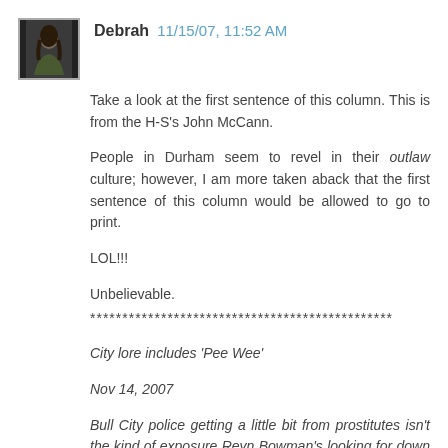[Figure (photo): Avatar photo of user Debrah — dark-haired woman]
Debrah 11/15/07, 11:52 AM
Take a look at the first sentence of this column. This is from the H-S's John McCann.
People in Durham seem to revel in their outlaw culture; however, I am more taken aback that the first sentence of this column would be allowed to go to print.
LOL!!!
Unbelievable.
***********************************************
City lore includes 'Pee Wee'
Nov 14, 2007
Bull City police getting a little bit from prostitutes isn't the kind of exposure Reyn Bowman's looking for down there at the Durham Convention & Visitors Bureau.